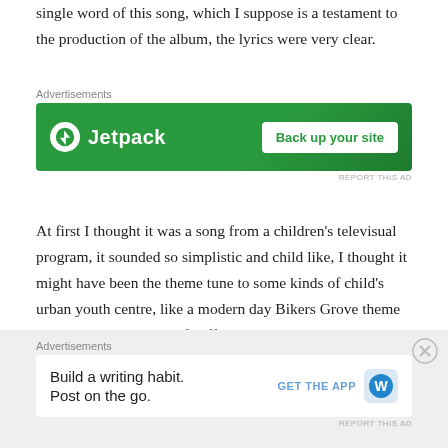single word of this song, which I suppose is a testament to the production of the album, the lyrics were very clear.
[Figure (screenshot): Jetpack advertisement banner: green background with Jetpack logo and 'Back up your site' button]
At first I thought it was a song from a children's televisual program, it sounded so simplistic and child like, I thought it might have been the theme tune to some kinds of child's urban youth centre, like a modern day Bikers Grove theme tune, it was that kinds of naff, simplistic, soulless, computerized nonsense that seems prevalent these days. But I was clearly mistaken it was a song, from the hit parade!
[Figure (screenshot): WordPress advertisement banner: 'Build a writing habit. Post on the go.' with GET THE APP button and WordPress logo]